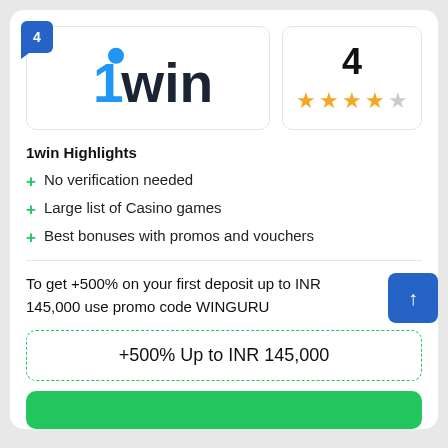[Figure (logo): 1win logo with blue dot above the '1' and dark bold 'win' text]
4
★★★★☆
1win Highlights
No verification needed
Large list of Casino games
Best bonuses with promos and vouchers
To get +500% on your first deposit up to INR 145,000 use promo code WINGURU
+500% Up to INR 145,000